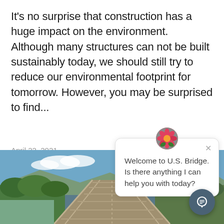It's no surprise that construction has a huge impact on the environment. Although many structures can not be built sustainably today, we should still try to reduce our environmental footprint for tomorrow. However, you may be surprised to find...
April 22, 2021
Welcome to U.S. Bridge. Is there anything I can help you with today?
[Figure (photo): A wooden bridge or boardwalk extending into the distance surrounded by green trees and shrubs under a blue sky with clouds.]